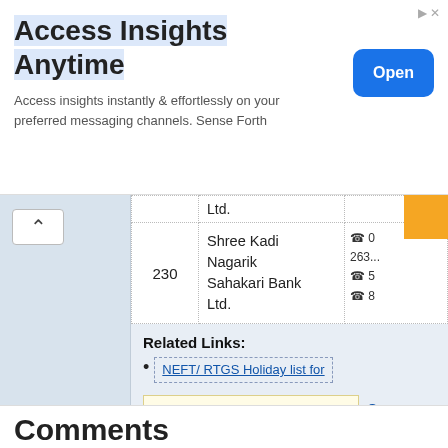[Figure (screenshot): Advertisement banner: 'Access Insights Anytime' with Open button]
| No. | Bank Name | Contact |
| --- | --- | --- |
|  | Ltd. |  |
| 230 | Shree Kadi Nagarik Sahakari Bank Ltd. | 263... |
Related Links:
NEFT/ RTGS Holiday list for
Add new comment
Gov
Like
Comments